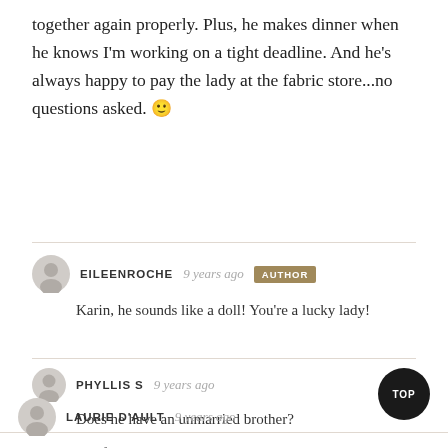together again properly. Plus, he makes dinner when he knows I'm working on a tight deadline. And he's always happy to pay the lady at the fabric store...no questions asked. 🙂
EILEENROCHE · 9 years ago · AUTHOR
Karin, he sounds like a doll! You're a lucky lady!
PHYLLIS S · 9 years ago
Does he have an unmarried brother?
LAURIE D'AULT · 9 years ago
I have loads of hints; I should being a toolmaker. I've